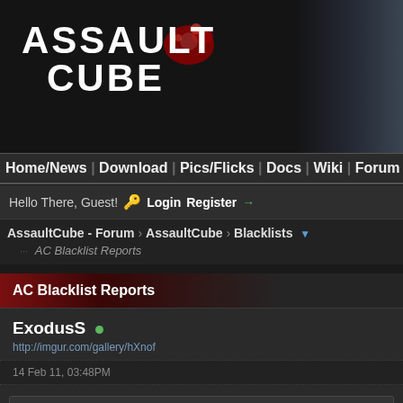[Figure (screenshot): AssaultCube game website banner with logo text ASSAULT CUBE on dark background with red splatter graphic and background scene image on right]
Home/News | Download | Pics/Flicks | Docs | Wiki | Forum | IRC | D
Hello There, Guest! 🔑 Login Register →
AssaultCube - Forum › AssaultCube › Blacklists ▼
AC Blacklist Reports
AC Blacklist Reports
ExodusS •
http://imgur.com/gallery/hXnof
14 Feb 11, 03:48PM
Lumpaz Wrote: →
//Name: Armageddon